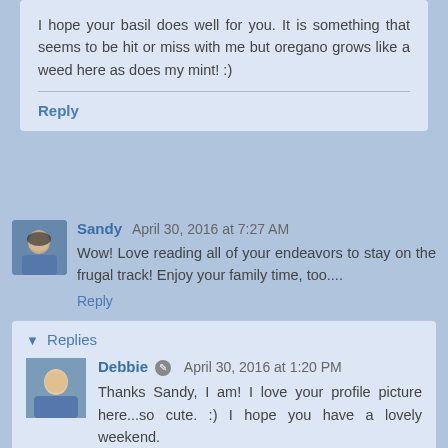I hope your basil does well for you. It is something that seems to be hit or miss with me but oregano grows like a weed here as does my mint! :)
Reply
Sandy April 30, 2016 at 7:27 AM
Wow! Love reading all of your endeavors to stay on the frugal track! Enjoy your family time, too....
Reply
Replies
Debbie April 30, 2016 at 1:20 PM
Thanks Sandy, I am! I love your profile picture here...so cute. :) I hope you have a lovely weekend.